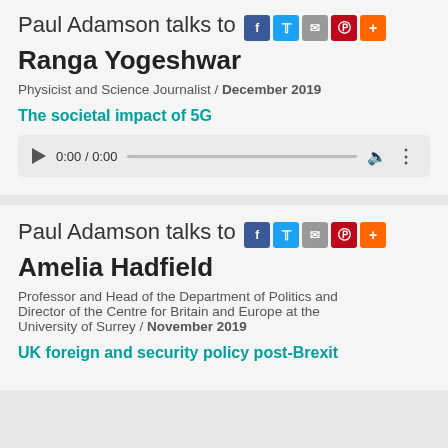Paul Adamson talks to Ranga Yogeshwar
Physicist and Science Journalist / December 2019
The societal impact of 5G
[Figure (other): Audio player widget showing 0:00 / 0:00 with play button, progress bar, mute, and options icons]
Paul Adamson talks to Amelia Hadfield
Professor and Head of the Department of Politics and Director of the Centre for Britain and Europe at the University of Surrey / November 2019
UK foreign and security policy post-Brexit